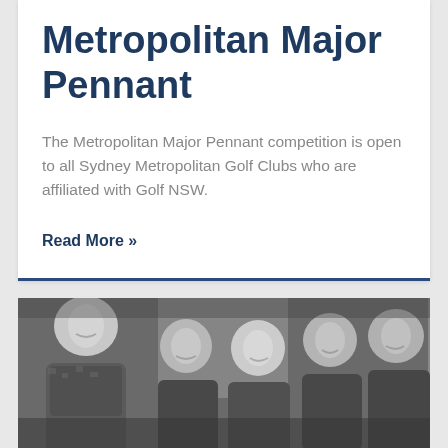Metropolitan Major Pennant
The Metropolitan Major Pennant competition is open to all Sydney Metropolitan Golf Clubs who are affiliated with Golf NSW.
Read More »
[Figure (photo): Black and white group photo of five women smiling, wearing patterned shirts, standing together indoors]